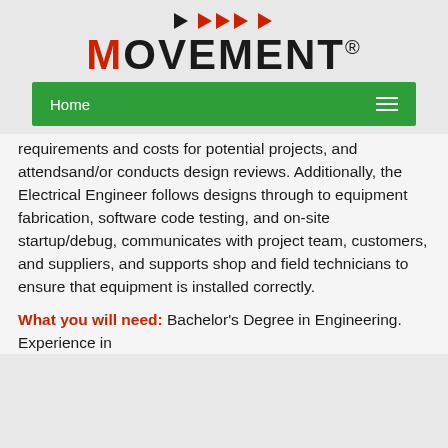[Figure (logo): MOVEMENT logo with red M and dark text, play button arrows above]
Home
requirements and costs for potential projects, and attendsand/or conducts design reviews. Additionally, the Electrical Engineer follows designs through to equipment fabrication, software code testing, and on-site startup/debug, communicates with project team, customers, and suppliers, and supports shop and field technicians to ensure that equipment is installed correctly.
What you will need: Bachelor's Degree in Engineering. Experience in